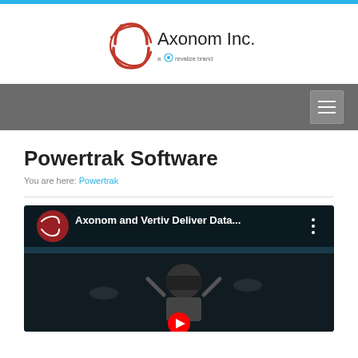[Figure (logo): Axonom Inc. logo with red globe graphic and 'a revalize brand' tagline]
[Figure (screenshot): Navigation bar with hamburger menu icon on dark gray background]
Powertrak Software
You are here: Powertrak
[Figure (screenshot): YouTube video thumbnail showing 'Axonom and Vertiv Deliver Data...' with a person and YouTube play button]